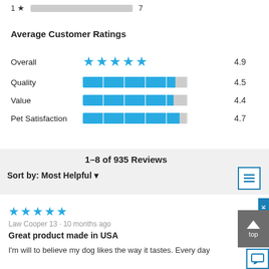1 ★  [bar]  7
Average Customer Ratings
| Category | Rating Bar | Score |
| --- | --- | --- |
| Overall | ★★★★★ | 4.9 |
| Quality | [bar 4.5/5] | 4.5 |
| Value | [bar 4.4/5] | 4.4 |
| Pet Satisfaction | [bar 4.7/5] | 4.7 |
1–8 of 935 Reviews
Sort by: Most Helpful ▼
★★★★★
Law Cooper 13 · 10 months ago
Great product made in USA
I'm will to believe my dog likes the way it tastes. Every day